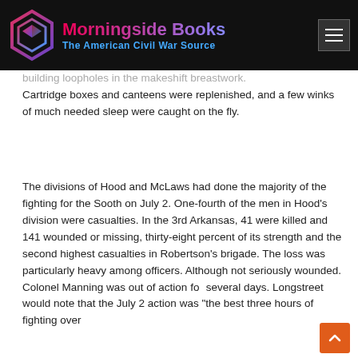Morningside Books — The American Civil War Source
building loopholes in the makeshift breastwork. Cartridge boxes and canteens were replenished, and a few winks of much needed sleep were caught on the fly.
The divisions of Hood and McLaws had done the majority of the fighting for the Sooth on July 2. One-fourth of the men in Hood's division were casualties. In the 3rd Arkansas, 41 were killed and 141 wounded or missing, thirty-eight percent of its strength and the second highest casualties in Robertson's brigade. The loss was particularly heavy among officers. Although not seriously wounded. Colonel Manning was out of action for several days. Longstreet would note that the July 2 action was "the best three hours of fighting over